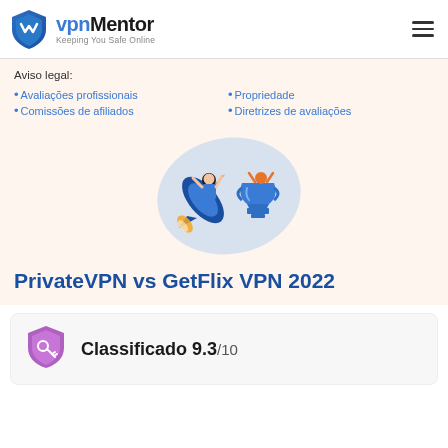vpnMentor — Keeping You Safe Online
Aviso legal:
Avaliações profissionais
Comissões de afiliados
Propriedade
Diretrizes de avaliações
[Figure (illustration): Person riding a rocket next to a trophy cup, with a light blue blob background shape]
PrivateVPN vs GetFlix VPN 2022
Classificado 9.3/10